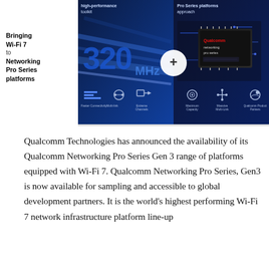[Figure (photo): Composite image showing Wi-Fi 7 and Qualcomm Networking Pro Series platforms. Left side shows '320 MHz' in large blue text with speed/channel icons below, including Faster Connectivity, Multi-link, Extreme Channels. Right side shows a Qualcomm Networking Pro Series chip. A white circle with '+' connects the two halves. Top text reads 'high-performance toolkit' and 'Pro Series platforms approach'. Left sidebar text reads 'Bringing Wi-Fi 7 to Networking Pro Series platforms'.]
Qualcomm Technologies has announced the availability of its Qualcomm Networking Pro Series Gen 3 range of platforms equipped with Wi-Fi 7. Qualcomm Networking Pro Series, Gen3 is now available for sampling and accessible to global development partners. It is the world's highest performing Wi-Fi 7 network infrastructure platform line-up